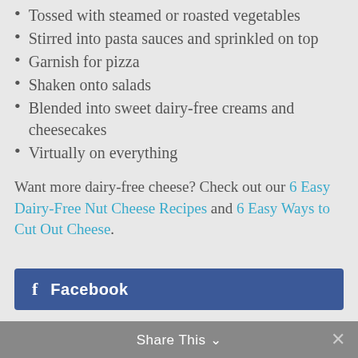Sprinkled on soups, stews, and chilis
Tossed with steamed or roasted vegetables
Stirred into pasta sauces and sprinkled on top
Garnish for pizza
Shaken onto salads
Blended into sweet dairy-free creams and cheesecakes
Virtually on everything
Want more dairy-free cheese? Check out our 6 Easy Dairy-Free Nut Cheese Recipes and 6 Easy Ways to Cut Out Cheese.
Facebook | Share This